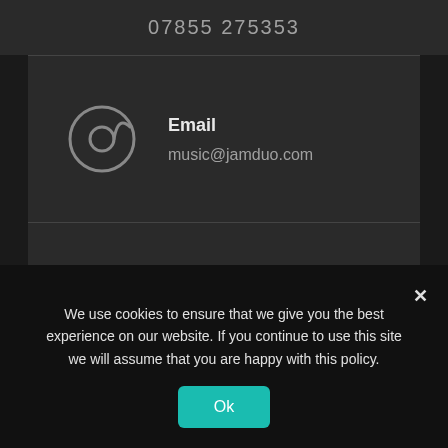07855 275353
Email
music@jamduo.com
Location
Anywhere in the UK
We use cookies to ensure that we give you the best experience on our website. If you continue to use this site we will assume that you are happy with this policy.
Ok